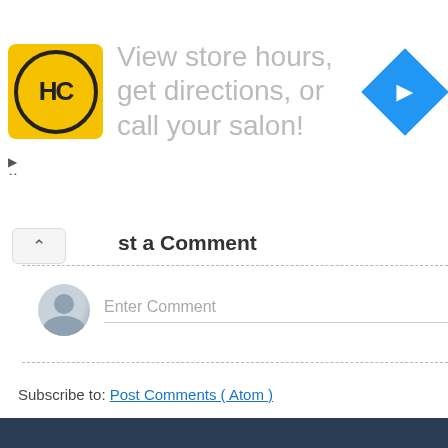[Figure (screenshot): Ad banner: HC logo (yellow circle with HC text), large gray text 'View store hours, get directions, or call your salon!', blue diamond navigation arrow icon on right]
st a Comment
[Figure (screenshot): Comment input area with generic user avatar and 'Enter Comment' placeholder text with underline]
Newer Post
Home
View mobile version
Subscribe to: Post Comments ( Atom )